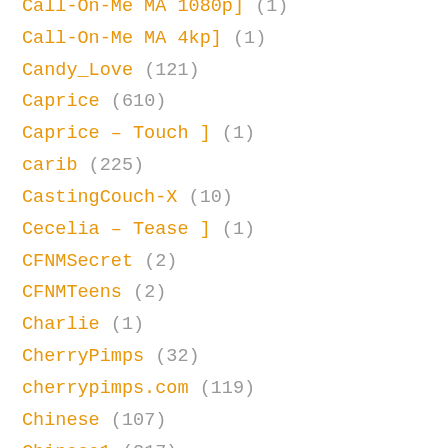Call-On-Me MA 1080p] (1)
Call-On-Me MA 4kp] (1)
Candy_Love (121)
Caprice (610)
Caprice – Touch ] (1)
carib (225)
CastingCouch-X (10)
Cecelia – Tease ] (1)
CFNMSecret (2)
CFNMTeens (2)
Charlie (1)
CherryPimps (32)
cherrypimps.com (119)
Chinese (107)
Chinese1 (217)
Cindy (1)